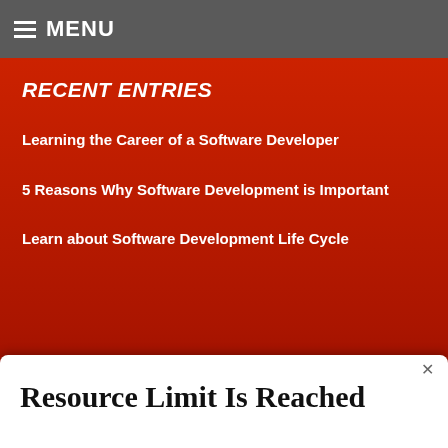MENU
Recent Entries
Learning the Career of a Software Developer
5 Reasons Why Software Development is Important
Learn about Software Development Life Cycle
© 2016 Programming Scala
Resource Limit Is Reached